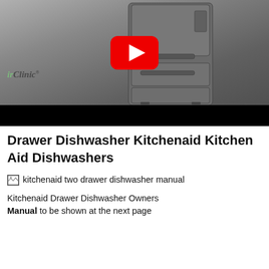[Figure (screenshot): YouTube video thumbnail showing a stainless steel French door refrigerator with a YouTube play button overlay. RepairClinic watermark visible at lower left. Black bar at the bottom of the video player.]
Drawer Dishwasher Kitchenaid Kitchen Aid Dishwashers
[Figure (photo): Broken/missing image placeholder with alt text: kitchenaid two drawer dishwasher manual]
Kitchenaid Drawer Dishwasher Owners Manual to be shown at the next page